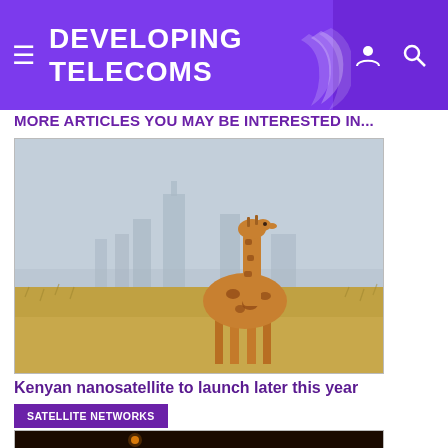DEVELOPING TELECOMS
MORE ARTICLES YOU MAY BE INTERESTED IN...
[Figure (photo): A giraffe standing in golden savanna grass with a city skyline (Nairobi) in the misty background]
Kenyan nanosatellite to launch later this year
SATELLITE NETWORKS
[Figure (photo): Dark image showing a bright glowing orange/yellow light (possibly moon or satellite) against a very dark background]